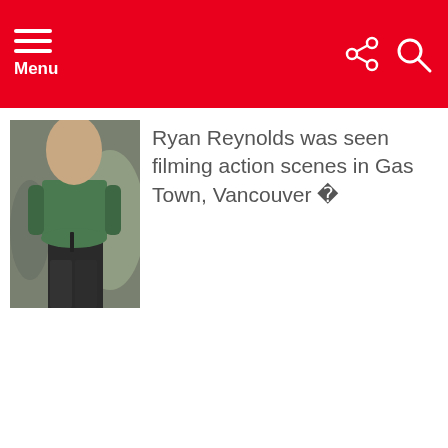Menu
[Figure (photo): A person wearing a green t-shirt and dark pants, walking in an outdoor setting with blurred people in background]
Ryan Reynolds was seen filming action scenes in Gas Town, Vancouver �